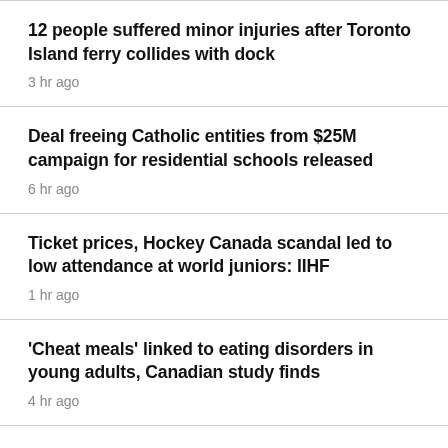12 people suffered minor injuries after Toronto Island ferry collides with dock
3 hr ago
Deal freeing Catholic entities from $25M campaign for residential schools released
6 hr ago
Ticket prices, Hockey Canada scandal led to low attendance at world juniors: IIHF
1 hr ago
'Cheat meals' linked to eating disorders in young adults, Canadian study finds
4 hr ago